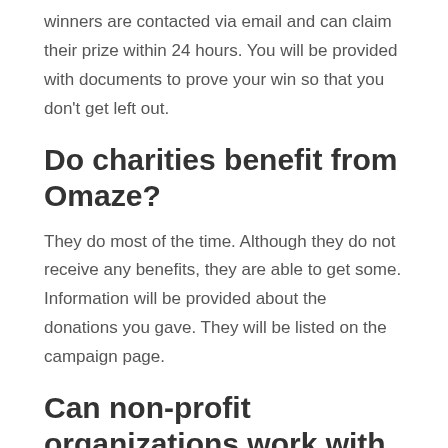winners are contacted via email and can claim their prize within 24 hours. You will be provided with documents to prove your win so that you don't get left out.
Do charities benefit from Omaze?
They do most of the time. Although they do not receive any benefits, they are able to get some. Information will be provided about the donations you gave. They will be listed on the campaign page.
Can non-profit organizations work with Omaze?
Yes, they can. You can contact their email with the details about the inquiry.
Are payment donations in Omaze recurring?